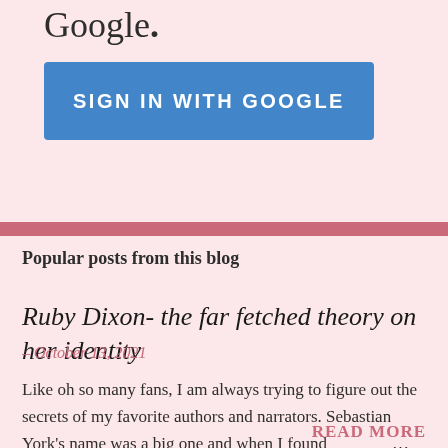Google.
[Figure (other): Blue 'SIGN IN WITH GOOGLE' button]
Popular posts from this blog
Ruby Dixon- the far fetched theory on her identity
– October 13, 2021
Like oh so many fans, I am always trying to figure out the secrets of my favorite authors and narrators. Sebastian York's name was a big one and when I found out I ma… …
READ MORE